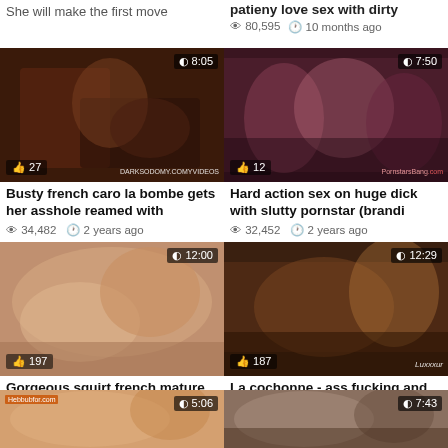She will make the first move
patieny love sex with dirty
👁 80,595  🕐 10 months ago
[Figure (photo): Video thumbnail 8:05, 27 likes, DARKSODOMY.COMYVIDEOS watermark]
Busty french caro la bombe gets her asshole reamed with
👁 34,482  🕐 2 years ago
[Figure (photo): Video thumbnail 7:50, 12 likes, PornstarsBang.com watermark]
Hard action sex on huge dick with slutty pornstar (brandi
👁 32,452  🕐 2 years ago
[Figure (photo): Video thumbnail 12:00, 197 likes]
Gorgeous squirt french mature with big boobs
👁 304,415  🕐 2 years ago
[Figure (photo): Video thumbnail 12:29, 187 likes, Luxxxur watermark]
La cochonne - ass fucking and cock riding with french
👁 241,553  🕐 1 year ago
[Figure (photo): Partial video thumbnail 5:06, site logo top-left]
[Figure (photo): Partial video thumbnail 7:43]